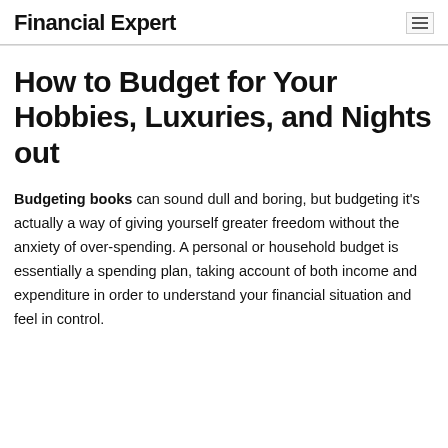Financial Expert
How to Budget for Your Hobbies, Luxuries, and Nights out
Budgeting books can sound dull and boring, but budgeting it's actually a way of giving yourself greater freedom without the anxiety of over-spending. A personal or household budget is essentially a spending plan, taking account of both income and expenditure in order to understand your financial situation and feel in control.